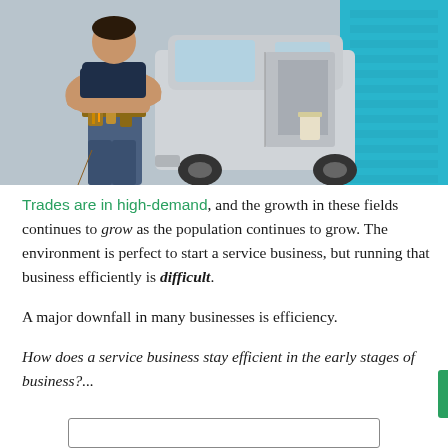[Figure (photo): A trades worker (handyman/contractor) standing with arms crossed next to a silver work van with the sliding door open, wearing a tool belt and work clothes. A blue garage door is visible in the background.]
Trades are in high-demand, and the growth in these fields continues to grow as the population continues to grow. The environment is perfect to start a service business, but running that business efficiently is difficult.
A major downfall in many businesses is efficiency.
How does a service business stay efficient in the early stages of business?...